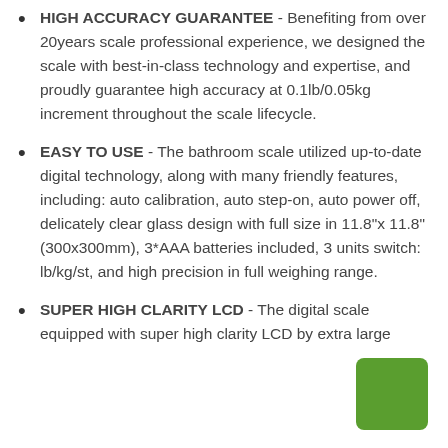HIGH ACCURACY GUARANTEE - Benefiting from over 20years scale professional experience, we designed the scale with best-in-class technology and expertise, and proudly guarantee high accuracy at 0.1lb/0.05kg increment throughout the scale lifecycle.
EASY TO USE - The bathroom scale utilized up-to-date digital technology, along with many friendly features, including: auto calibration, auto step-on, auto power off, delicately clear glass design with full size in 11.8"x 11.8" (300x300mm), 3*AAA batteries included, 3 units switch: lb/kg/st, and high precision in full weighing range.
SUPER HIGH CLARITY LCD - The digital scale equipped with super high clarity LCD by extra large